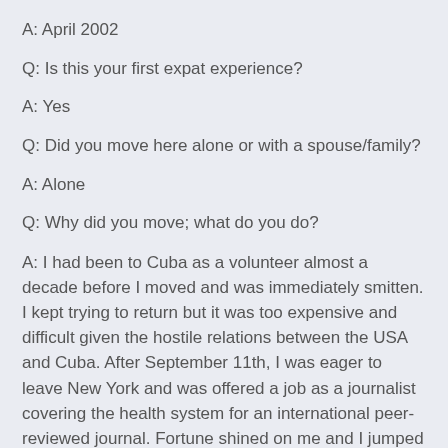A: April 2002
Q: Is this your first expat experience?
A: Yes
Q: Did you move here alone or with a spouse/family?
A: Alone
Q: Why did you move; what do you do?
A: I had been to Cuba as a volunteer almost a decade before I moved and was immediately smitten. I kept trying to return but it was too expensive and difficult given the hostile relations between the USA and Cuba. After September 11th, I was eager to leave New York and was offered a job as a journalist covering the health system for an international peer-reviewed journal. Fortune shined on me and I jumped at the chance.